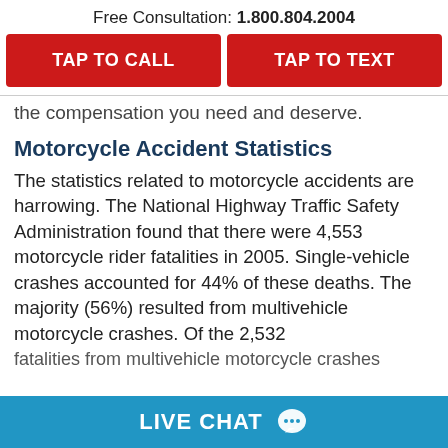Free Consultation: 1.800.804.2004
TAP TO CALL
TAP TO TEXT
the compensation you need and deserve.
Motorcycle Accident Statistics
The statistics related to motorcycle accidents are harrowing. The National Highway Traffic Safety Administration found that there were 4,553 motorcycle rider fatalities in 2005. Single-vehicle crashes accounted for 44% of these deaths. The majority (56%) resulted from multivehicle motorcycle crashes. Of the 2,532 fatalities from multivehicle motorcycle crashes
LIVE CHAT